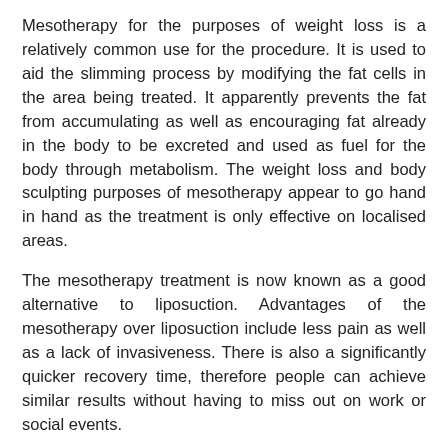Mesotherapy for the purposes of weight loss is a relatively common use for the procedure. It is used to aid the slimming process by modifying the fat cells in the area being treated. It apparently prevents the fat from accumulating as well as encouraging fat already in the body to be excreted and used as fuel for the body through metabolism. The weight loss and body sculpting purposes of mesotherapy appear to go hand in hand as the treatment is only effective on localised areas.
The mesotherapy treatment is now known as a good alternative to liposuction. Advantages of the mesotherapy over liposuction include less pain as well as a lack of invasiveness. There is also a significantly quicker recovery time, therefore people can achieve similar results without having to miss out on work or social events.
Where can Mesotherapy be used for Weight Loss?
Mesotherapy for weight loss can be performed wherever